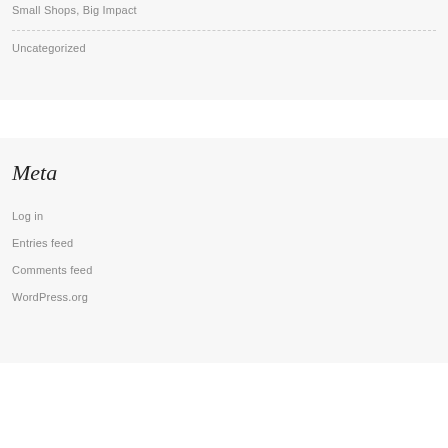Small Shops, Big Impact
Uncategorized
Meta
Log in
Entries feed
Comments feed
WordPress.org